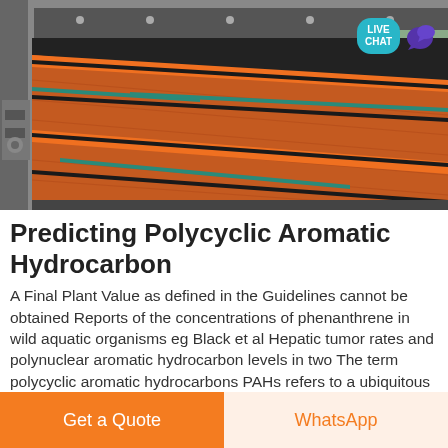[Figure (photo): Industrial conveyor or roller equipment with orange/red rubber belts and dark metal frame, viewed from inside showing belt rollers and support bars]
Predicting Polycyclic Aromatic Hydrocarbon
A Final Plant Value as defined in the Guidelines cannot be obtained Reports of the concentrations of phenanthrene in wild aquatic organisms eg Black et al Hepatic tumor rates and polynuclear aromatic hydrocarbon levels in two The term polycyclic aromatic hydrocarbons PAHs refers to a ubiquitous forest and
Get a Quote | WhatsApp